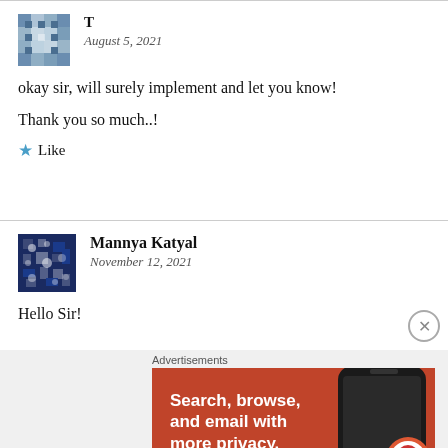[Figure (illustration): Avatar icon for user T - blue/grey mosaic pattern]
T
August 5, 2021
okay sir, will surely implement and let you know!
Thank you so much..!
Like
[Figure (illustration): Avatar icon for Mannya Katyal - dark blue mosaic pattern]
Mannya Katyal
November 12, 2021
Hello Sir!
[Figure (screenshot): DuckDuckGo advertisement banner: orange background, text 'Search, browse, and email with more privacy. All in One Free App', phone image on right, DuckDuckGo logo]